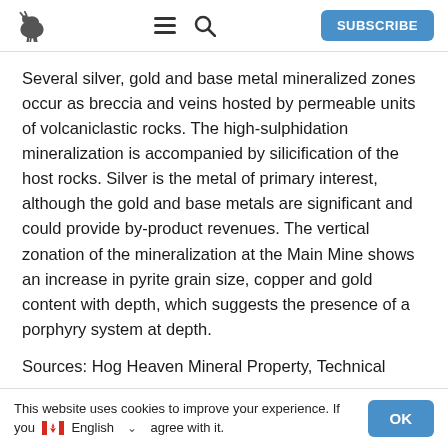Navigation bar with logo, hamburger menu, search icon, and SUBSCRIBE button
Several silver, gold and base metal mineralized zones occur as breccia and veins hosted by permeable units of volcaniclastic rocks. The high-sulphidation mineralization is accompanied by silicification of the host rocks.  Silver is the metal of primary interest, although the gold and base metals are significant and could provide by-product revenues. The vertical zonation of the mineralization at the Main Mine shows an increase in pyrite grain size, copper and gold content with depth, which suggests the presence of a porphyry system at depth.
Sources: Hog Heaven Mineral Property, Technical
This website uses cookies to improve your experience. If you   English   ∨   agree with it.